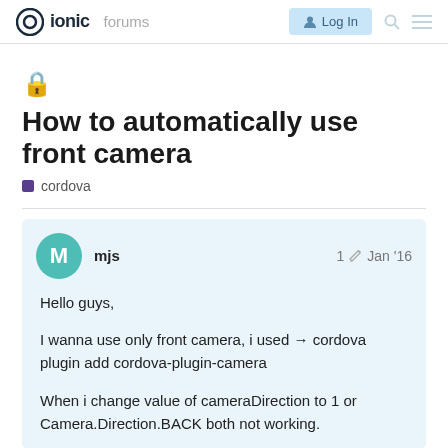ionic  forums  Log In
🔒 How to automatically use front camera
cordova
mjs  1  Jan '16
Hello guys,

I wanna use only front camera, i used → cordova plugin add cordova-plugin-camera

When i change value of cameraDirection to 1 or Camera.Direction.BACK both not working.